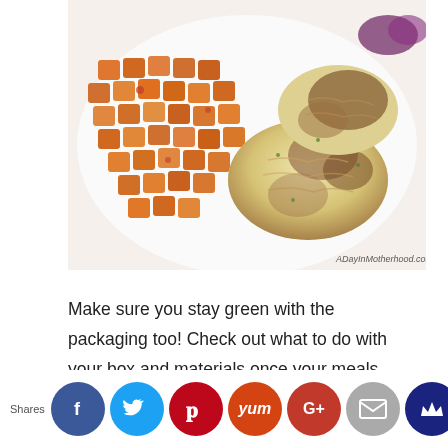[Figure (photo): A plate of food showing roasted sweet potato cubes on the left and golden-brown baked/fried patties (possibly cauliflower or fish cakes) on the right, on a white plate. Watermark reads 'ADayInMotherhood.com'.]
Make sure you stay green with the packaging too! Check out what to do with your box and materials once your meals are all cooked!
[Figure (infographic): Social sharing bar with Shares label and circular icons: Facebook (blue), Twitter (cyan), Pinterest (red), Yummly (orange), Google+ (red), Email (gray), Crown/other (dark blue)]